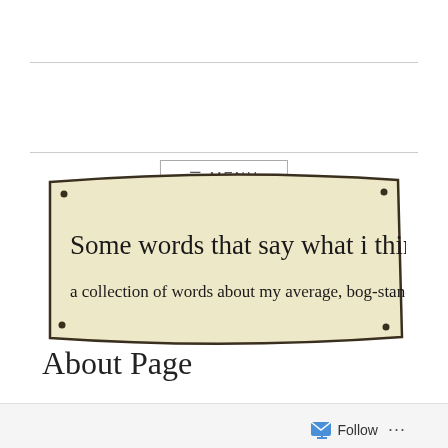[Figure (illustration): Hand-drawn banner on parchment-colored background with text: 'Some words that say what i think:' and subtitle 'a collection of words about my average, bog-standard life']
About Page
I am going to start this ‘About Page’ by talking